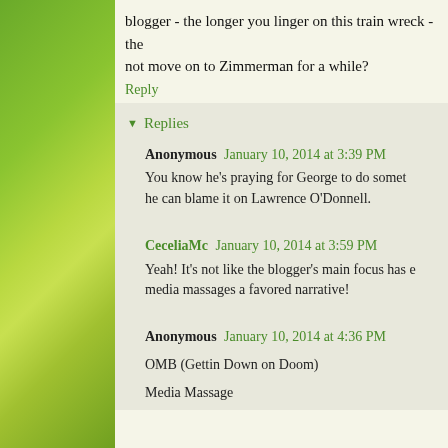blogger - the longer you linger on this train wreck - the not move on to Zimmerman for a while?
Reply
Replies
Anonymous January 10, 2014 at 3:39 PM
You know he's praying for George to do somet he can blame it on Lawrence O'Donnell.
CeceliaMc January 10, 2014 at 3:59 PM
Yeah! It's not like the blogger's main focus has e media massages a favored narrative!
Anonymous January 10, 2014 at 4:36 PM
OMB (Gettin Down on Doom)
Media Massage